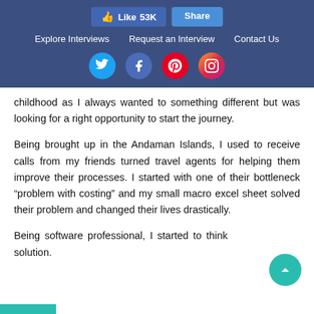Like 53K  Share  |  Explore Interviews  Request an Interview  Contact Us
[Figure (screenshot): Social media icons: Twitter (blue circle), Facebook (blue circle), Pinterest (red circle), Instagram (gradient circle)]
childhood as I always wanted to something different but was looking for a right opportunity to start the journey.
Being brought up in the Andaman Islands, I used to receive calls from my friends turned travel agents for helping them improve their processes. I started with one of their bottleneck “problem with costing” and my small macro excel sheet solved their problem and changed their lives drastically.
Being software professional, I started to think solution.